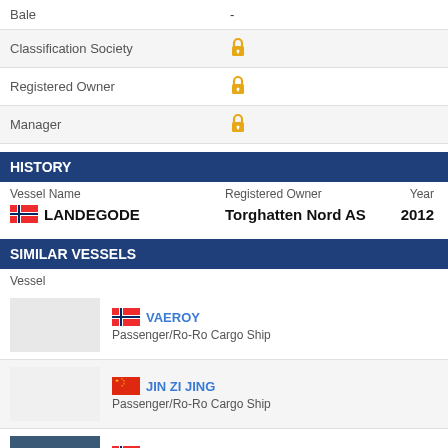| Field | Value |
| --- | --- |
| Bale | - |
| Classification Society | 🔒 |
| Registered Owner | 🔒 |
| Manager | 🔒 |
HISTORY
| Vessel Name | Registered Owner | Year |
| --- | --- | --- |
| 🇳🇴 LANDEGODE | Torghatten Nord AS | 2012 |
SIMILAR VESSELS
Vessel
[Figure (other): VAEROY vessel card with Norwegian flag, Passenger/Ro-Ro Cargo Ship]
[Figure (other): JIN ZI JING vessel card with Chinese flag, Passenger/Ro-Ro Cargo Ship]
[Figure (other): LODINGEN vessel card with Norwegian flag and photo, Passenger/Ro-Ro Cargo Ship]